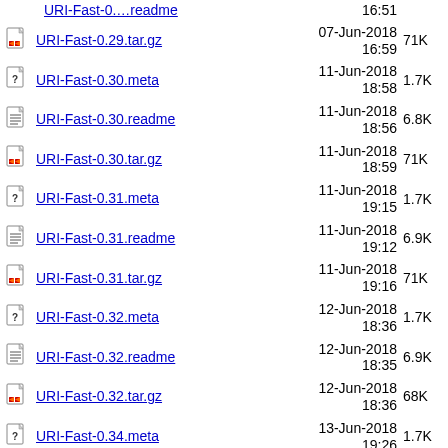URI-Fast-0.29.tar.gz  07-Jun-2018 16:59  71K
URI-Fast-0.30.meta  11-Jun-2018 18:58  1.7K
URI-Fast-0.30.readme  11-Jun-2018 18:56  6.8K
URI-Fast-0.30.tar.gz  11-Jun-2018 18:59  71K
URI-Fast-0.31.meta  11-Jun-2018 19:15  1.7K
URI-Fast-0.31.readme  11-Jun-2018 19:12  6.9K
URI-Fast-0.31.tar.gz  11-Jun-2018 19:16  71K
URI-Fast-0.32.meta  12-Jun-2018 18:36  1.7K
URI-Fast-0.32.readme  12-Jun-2018 18:35  6.9K
URI-Fast-0.32.tar.gz  12-Jun-2018 18:36  68K
URI-Fast-0.34.meta  13-Jun-2018 19:26  1.7K